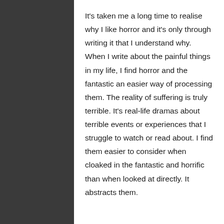It's taken me a long time to realise why I like horror and it's only through writing it that I understand why. When I write about the painful things in my life, I find horror and the fantastic an easier way of processing them. The reality of suffering is truly terrible. It's real-life dramas about terrible events or experiences that I struggle to watch or read about. I find them easier to consider when cloaked in the fantastic and horrific than when looked at directly. It abstracts them.